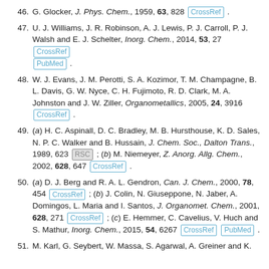46. G. Glocker, J. Phys. Chem., 1959, 63, 828 [CrossRef] .
47. U. J. Williams, J. R. Robinson, A. J. Lewis, P. J. Carroll, P. J. Walsh and E. J. Schelter, Inorg. Chem., 2014, 53, 27 [CrossRef] [PubMed] .
48. W. J. Evans, J. M. Perotti, S. A. Kozimor, T. M. Champagne, B. L. Davis, G. W. Nyce, C. H. Fujimoto, R. D. Clark, M. A. Johnston and J. W. Ziller, Organometallics, 2005, 24, 3916 [CrossRef] .
49. (a) H. C. Aspinall, D. C. Bradley, M. B. Hursthouse, K. D. Sales, N. P. C. Walker and B. Hussain, J. Chem. Soc., Dalton Trans., 1989, 623 [RSC] ; (b) M. Niemeyer, Z. Anorg. Allg. Chem., 2002, 628, 647 [CrossRef] .
50. (a) D. J. Berg and R. A. L. Gendron, Can. J. Chem., 2000, 78, 454 [CrossRef] ; (b) J. Colin, N. Giuseppone, N. Jaber, A. Domingos, L. Maria and I. Santos, J. Organomet. Chem., 2001, 628, 271 [CrossRef] ; (c) E. Hemmer, C. Cavelius, V. Huch and S. Mathur, Inorg. Chem., 2015, 54, 6267 [CrossRef] [PubMed] .
51. M. Karl, G. Seybert, W. Massa, S. Agarwal, A. Greiner and K...